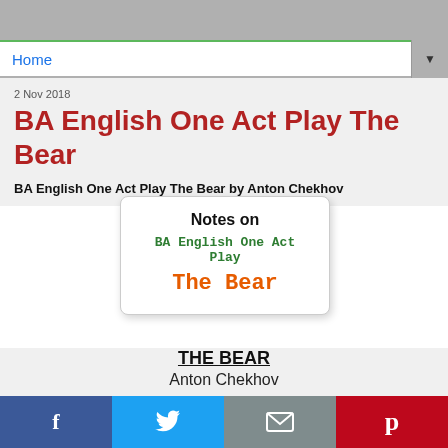Home
2 Nov 2018
BA English One Act Play The Bear
BA English One Act Play The Bear by Anton Chekhov
[Figure (other): Card box with 'Notes on BA English One Act Play The Bear' text]
THE BEAR
Anton Chekhov
Anton Chekhov is a great Russian Writer but today he is very famous out of Russia. A very important
f  Twitter  Email  Pinterest social share bar